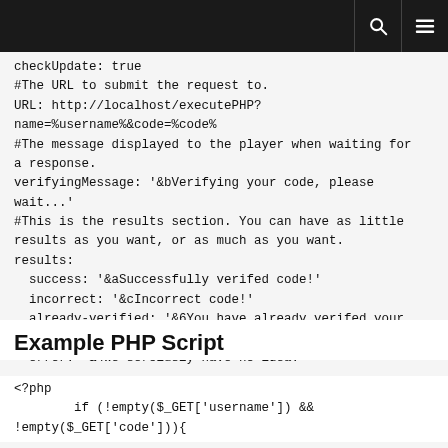[dark header bar with search and menu icons]
checkUpdate: true
#The URL to submit the request to.
URL: http://localhost/executePHP?name=%username%&code=%code%
#The message displayed to the player when waiting for a response.
verifyingMessage: '&bVerifying your code, please wait...'
#This is the results section. You can have as little results as you want, or as much as you want.
results:
  success: '&aSuccessfully verifed code!'
  incorrect: '&cIncorrect code!'
  already-verified: '&6You have already verifed your code.'
  error: '&4We seroiusly have no idea.'
Example PHP Script
<?php
        if (!empty($_GET['username']) &&
!empty($_GET['code'])){